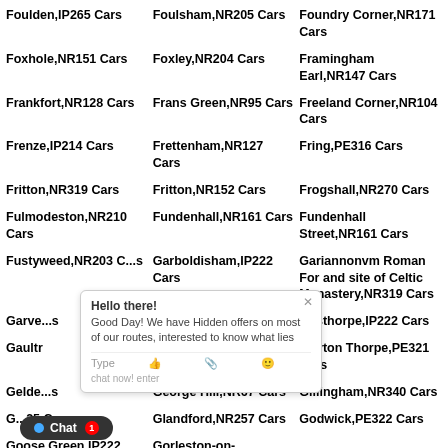Foulden,IP265 Cars
Foulsham,NR205 Cars
Foundry Corner,NR171 Cars
Foxhole,NR151 Cars
Foxley,NR204 Cars
Framingham Earl,NR147 Cars
Frankfort,NR128 Cars
Frans Green,NR95 Cars
Freeland Corner,NR104 Cars
Frenze,IP214 Cars
Frettenham,NR127 Cars
Fring,PE316 Cars
Fritton,NR319 Cars
Fritton,NR152 Cars
Frogshall,NR270 Cars
Fulmodeston,NR210 Cars
Fundenhall,NR161 Cars
Fundenhall Street,NR161 Cars
Fustyweed,NR203 Cars
Garboldisham,IP222 Cars
Gariannonvm Roman Fort and site of Celtic Manastery,NR319 Cars
Garve... Cars
Gas Hill,NR14 Cars
Gasthorpe,IP222 Cars
Gaultr...
Gayton,PE321 Cars
Gayton Thorpe,PE321 Cars
Gelde... Cars
George Hill,NR67 Cars
Gillingham,NR340 Cars
Gi...25 Cars
Glandford,NR257 Cars
Godwick,PE322 Cars
Goose Green,IP222
Gorleston-on-